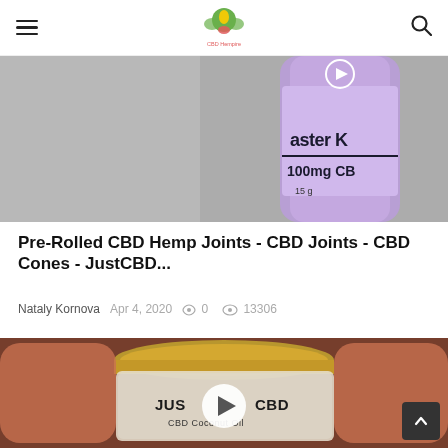CBD Hempire
[Figure (photo): Close-up photo of a purple cylindrical CBD product container with text 'aster K' and '100mg CBD' visible, on a blurred gray background]
Pre-Rolled CBD Hemp Joints - CBD Joints - CBD Cones - JustCBD...
Nataly Kornova   Apr 4, 2020   💬 0   👁 13306
[Figure (photo): Close-up photo of hands holding a small glass jar with a gold lid labeled 'JustCBD CBD Coconut Oil', with a white play button overlay in the center]